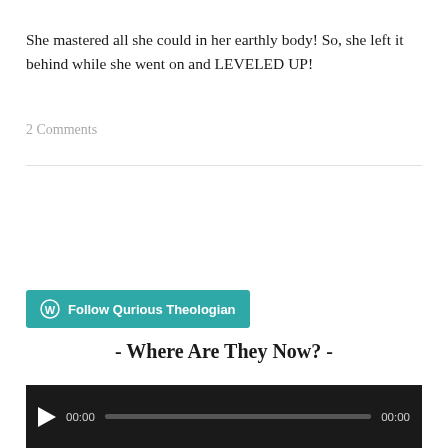She mastered all she could in her earthly body! So, she left it behind while she went on and LEVELED UP!
2 Comments
OLDER POSTS
Follow Qurious Theologian
- Where Are They Now? -
[Figure (other): Video player with play button, progress bar, and timestamps showing 00:00 on both start and end]